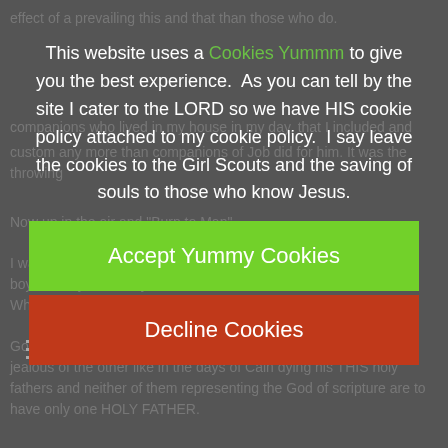effect of a prevailing this and that than those who do.
This website uses a Cookies Yummm to give you the best experience.  As you can tell by the site I cater to the LORD so we have HIS cookie policy attached to my cookie policy.  I say leave the cookies to the Girl Scouts and the saving of souls to those who know Jesus.
Accept Yummy Cookies
Decline Cookies
God created a distance for the brothers. So that one could not be jealous of the other like in the days of Cain dying his THIS holy fathers and neither of them representing the God of scripture are to have only one HOLY FATHER.